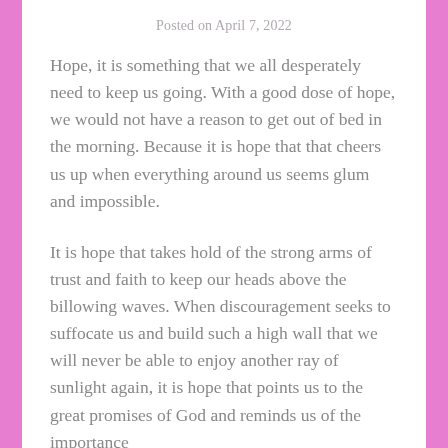Posted on April 7, 2022
Hope, it is something that we all desperately need to keep us going. With a good dose of hope, we would not have a reason to get out of bed in the morning. Because it is hope that that cheers us up when everything around us seems glum and impossible.
It is hope that takes hold of the strong arms of trust and faith to keep our heads above the billowing waves. When discouragement seeks to suffocate us and build such a high wall that we will never be able to enjoy another ray of sunlight again, it is hope that points us to the great promises of God and reminds us of the importance